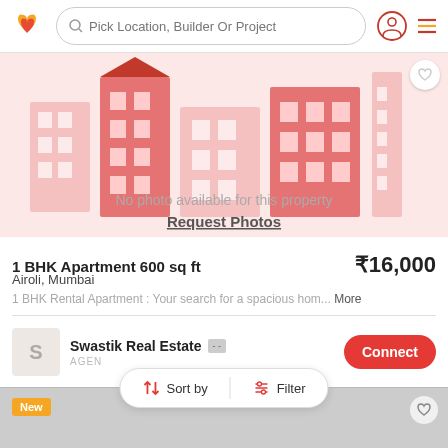Pick Location, Builder Or Project
[Figure (illustration): Building/city skyline illustration in pink/red tones with text: No photo available for this property. Request Photos.]
1 BHK Apartment 600 sq ft  ₹16,000
Airoli, Mumbai
1 BHK Rental Apartment : Your search for a spacious hom... More
Swastik Real Estate  [-]  AGENT  Connect
Sort by  Filter
[Figure (screenshot): Bottom card section showing 'New' badge with gray placeholder image area]